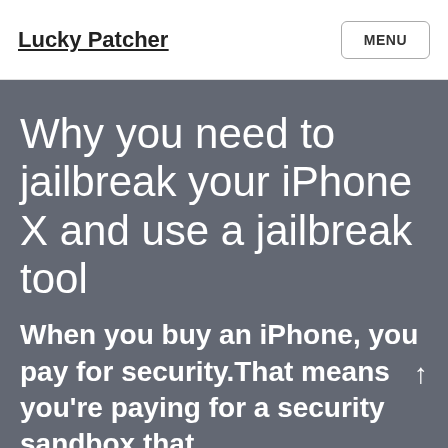Lucky Patcher  MENU
Why you need to jailbreak your iPhone X and use a jailbreak tool
When you buy an iPhone, you pay for security.That means you're paying for a security sandbox that